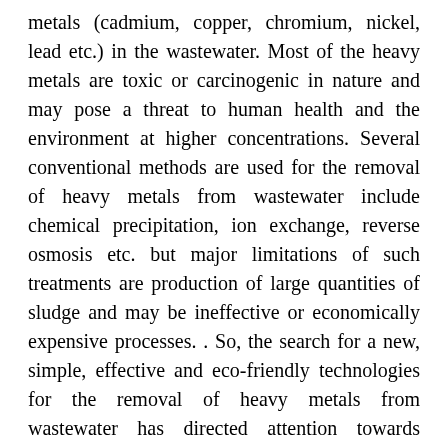metals (cadmium, copper, chromium, nickel, lead etc.) in the wastewater. Most of the heavy metals are toxic or carcinogenic in nature and may pose a threat to human health and the environment at higher concentrations. Several conventional methods are used for the removal of heavy metals from wastewater include chemical precipitation, ion exchange, reverse osmosis etc. but major limitations of such treatments are production of large quantities of sludge and may be ineffective or economically expensive processes. . So, the search for a new, simple, effective and eco-friendly technologies for the removal of heavy metals from wastewater has directed attention towards phytoremediation. Many plants has been used for treating wastewater but duckweeds (family Lemnaceae) appear to be the better alternative and have been recommended for wastewater treatment as they are more tolerant to cold than water hyacinth as well as more easily harvested than algae, and